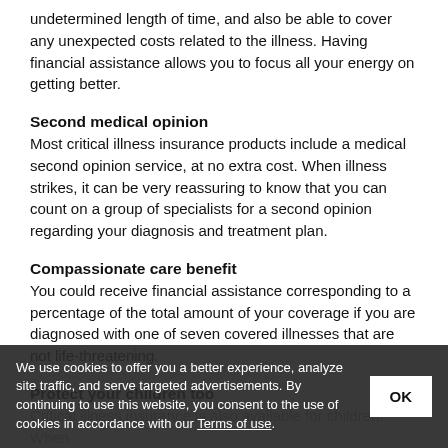undetermined length of time, and also be able to cover any unexpected costs related to the illness. Having financial assistance allows you to focus all your energy on getting better.
Second medical opinion
Most critical illness insurance products include a medical second opinion service, at no extra cost. When illness strikes, it can be very reassuring to know that you can count on a group of specialists for a second opinion regarding your diagnosis and treatment plan.
Compassionate care benefit
You could receive financial assistance corresponding to a percentage of the total amount of your coverage if you are diagnosed with one of seven covered illnesses that are not life-threatening.
Protect your children too
Critical illness insurance is also available for children. When illness strikes a child, it can be very difficult. In addition during absence causes, children's coverage also includes 5 juvenile diseases.
We use cookies to offer you a better experience, analyze site traffic, and serve targeted advertisements. By continuing to use this website, you consent to the use of cookies in accordance with our Terms of use.